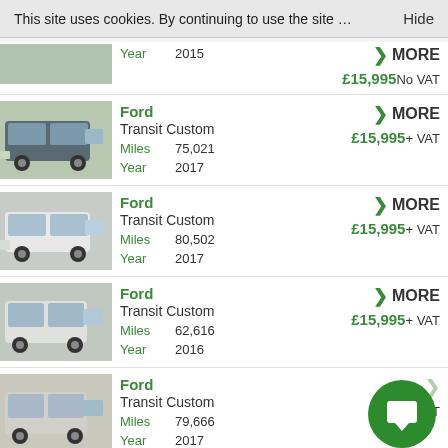This site uses cookies. By continuing to use the site … Hide
Ford Transit Custom | Year: 2015 | ► MORE | £15,995 No VAT
Ford Transit Custom | Miles: 75,021 | Year: 2017 | ► MORE | £15,995+ VAT
Ford Transit Custom | Miles: 80,502 | Year: 2017 | ► MORE | £15,995+ VAT
Ford Transit Custom | Miles: 62,616 | Year: 2016 | ► MORE | £15,995+ VAT
Ford Transit Custom | Miles: 79,666 | Year: 2017 | £15,995+ VAT
Ford Transit Custom